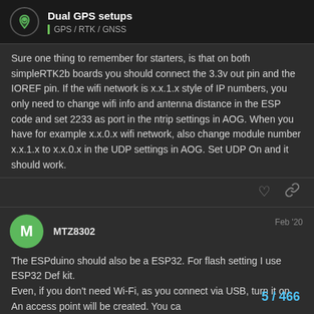Dual GPS setups | GPS / RTK / GNSS
Sure one thing to remember for starters, is that on both simpleRTK2b boards you should connect the 3.3v out pin and the IOREF pin. If the wifi network is x.x.1.x style of IP numbers, you only need to change wifi info and antenna distance in the ESP code and set 2233 as port in the ntrip settings in AOG. When you have for example x.x.0.x wifi network, also change module number x.x.1.x to x.x.0.x in the UDP settings in AOG. Set UDP On and it should work.
MTZ8302 Feb '20
The ESPduino should also be a ESP32. For flash setting I use ESP32 Def kit.
Even, if you don't need Wi-Fi, as you connect via USB, turn it on. An access point will be created. You ca
settings using your browser and the Webir
5 / 466